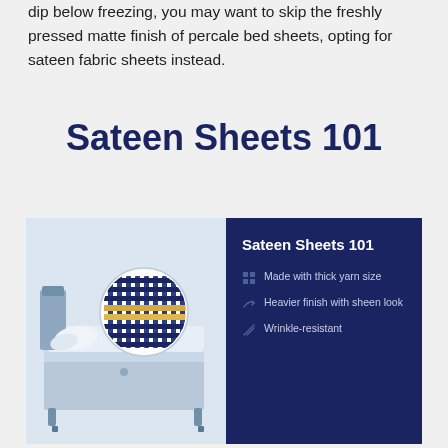dip below freezing, you may want to skip the freshly pressed matte finish of percale bed sheets, opting for sateen fabric sheets instead.
Sateen Sheets 101
[Figure (infographic): Infographic split into two panels. Left panel (light blue): illustration of a bed with a circular magnified inset showing a sateen weave pattern (horizontal yellow weft threads crossing vertical dark blue warp threads). Right panel (dark navy blue): title 'Sateen Sheets 101' with three bullet points listing key features: 'Made with thick yarn size', 'Heavier finish with sheen look', 'Wrinkle-resistant'.]